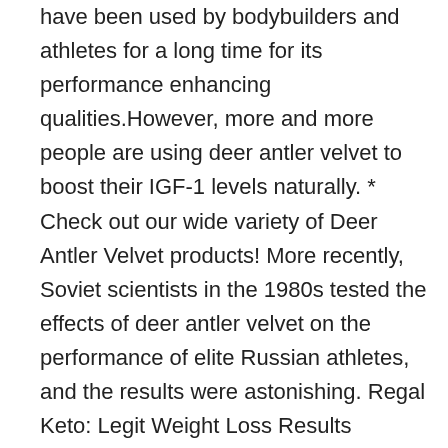have been used by bodybuilders and athletes for a long time for its performance enhancing qualities.However, more and more people are using deer antler velvet to boost their IGF-1 levels naturally. * Check out our wide variety of Deer Antler Velvet products! More recently, Soviet scientists in the 1980s tested the effects of deer antler velvet on the performance of elite Russian athletes, and the results were astonishing. Regal Keto: Legit Weight Loss Results Through Natural Ketosis? By delivering the information contained herein is does not mean preventing, diagnosing, mitigating, treating or curing any type of medical condition or disease. Deer antler velvet's active ingredients can help ailing body systems on sick people. HGH stands for